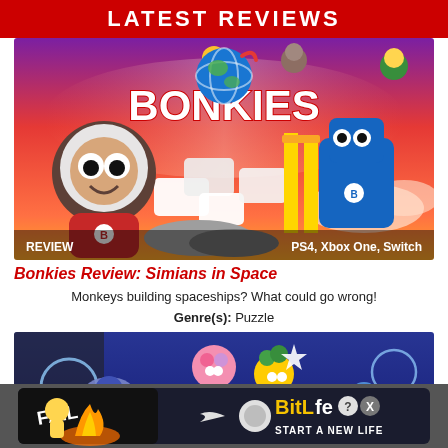LATEST REVIEWS
[Figure (screenshot): Bonkies game promotional art showing cartoon monkey astronaut characters in space with the BONKIES logo, on a red/purple background with white block structures. Labels: REVIEW (bottom left), PS4, Xbox One, Switch (bottom right).]
Bonkies Review: Simians in Space
Monkeys building spaceships? What could go wrong!
Genre(s): Puzzle
[Figure (screenshot): Colorful game screenshot showing cartoon characters including a pink creature and a yellow character flying in a blue environment with bubbles.]
[Figure (screenshot): BitLife advertisement banner showing FAIL text, a character, flames, and BitLife logo with START A NEW LIFE text.]